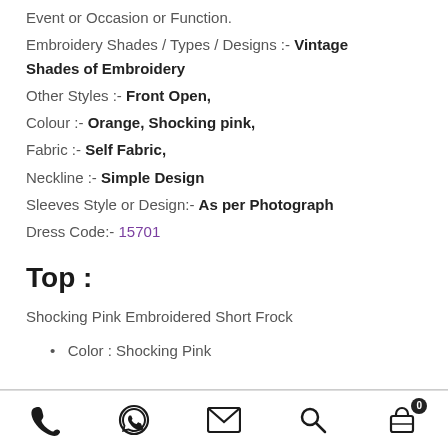Event or Occasion or Function:
Embroidery Shades / Types / Designs :- Vintage Shades of Embroidery
Other Styles :- Front Open,
Colour :- Orange, Shocking pink,
Fabric :- Self Fabric,
Neckline :- Simple Design
Sleeves Style or Design:- As per Photograph
Dress Code:- 15701
Top :
Shocking Pink Embroidered Short Frock
Color : Shocking Pink
phone | whatsapp | email | search | cart (0)